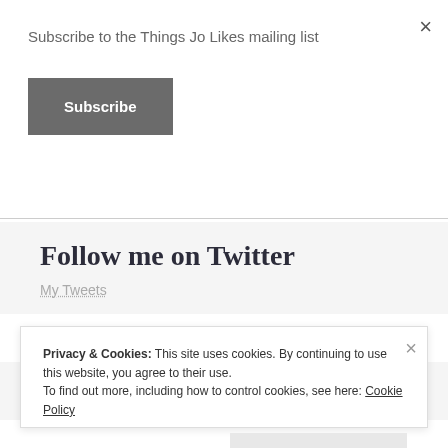Subscribe to the Things Jo Likes mailing list
Subscribe
×
Follow me on Twitter
My Tweets
Goodreads
Privacy & Cookies: This site uses cookies. By continuing to use this website, you agree to their use.
To find out more, including how to control cookies, see here: Cookie Policy
Close and accept